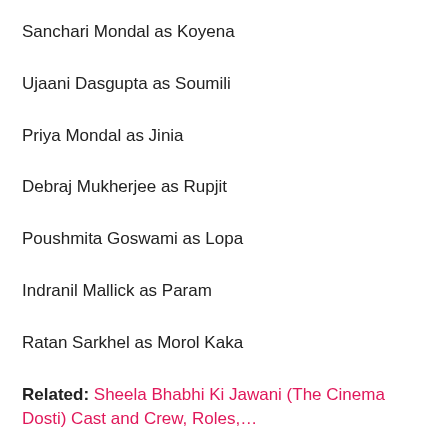Sanchari Mondal as Koyena
Ujaani Dasgupta as Soumili
Priya Mondal as Jinia
Debraj Mukherjee as Rupjit
Poushmita Goswami as Lopa
Indranil Mallick as Param
Ratan Sarkhel as Morol Kaka
Related: Sheela Bhabhi Ki Jawani (The Cinema Dosti) Cast and Crew, Roles,…